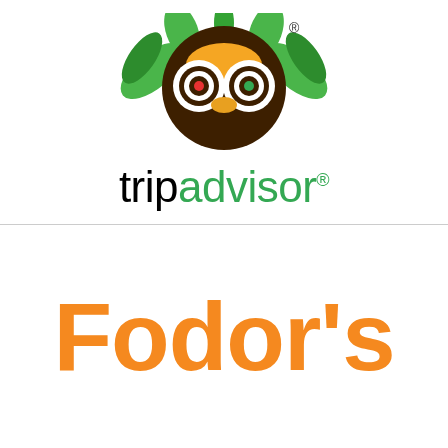[Figure (logo): TripAdvisor logo: owl face with green wings/feathers, black and white concentric circle eyes with red and green pupils, orange beak, and the wordmark 'tripadvisor' with 'trip' in black and 'advisor' in green with registered trademark symbol]
[Figure (logo): Fodor's logo in large bold orange text reading "Fodor's" (partially cropped at bottom)]